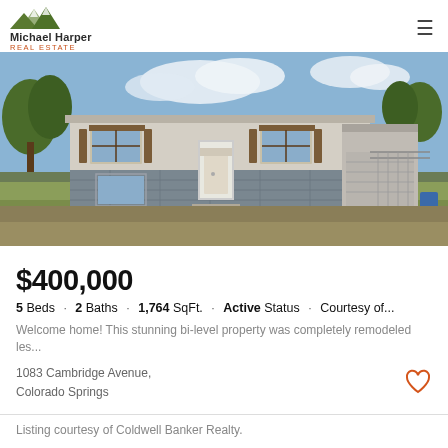Michael Harper Real Estate
[Figure (photo): Exterior front view of a bi-level residential home with white/beige siding, gray stone lower level, two-car garage on right, green trees, blue sky with clouds]
$400,000
5 Beds · 2 Baths · 1,764 SqFt. · Active Status · Courtesy of...
Welcome home! This stunning bi-level property was completely remodeled les...
1083 Cambridge Avenue,
Colorado Springs
Listing courtesy of Coldwell Banker Realty.